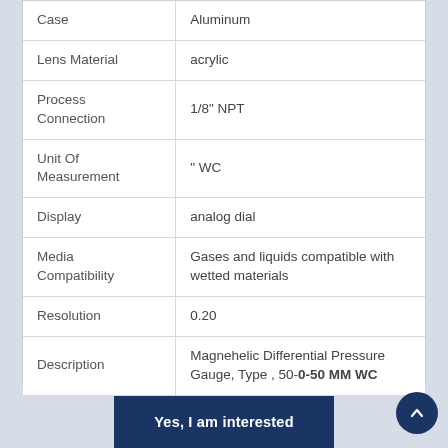| Property | Value |
| --- | --- |
| Case | Aluminum |
| Lens Material | acrylic |
| Process Connection | 1/8" NPT |
| Unit Of Measurement | " WC |
| Display | analog dial |
| Media Compatibility | Gases and liquids compatible with wetted materials |
| Resolution | 0.20 |
| Description | Magnehelic Differential Pressure Gauge, Type , 50-0-50 MM WC |
Yes, I am interested